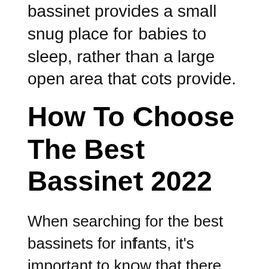bassinet provides a small snug place for babies to sleep, rather than a large open area that cots provide.
How To Choose The Best Bassinet 2022
When searching for the best bassinets for infants, it's important to know that there are a wide range of products out there. To ensure you purchase the best newborn bassinet for your child, be sure to consider all the various factors listed below.
Once you have a better idea of what you need, the you can check all the various guidelines